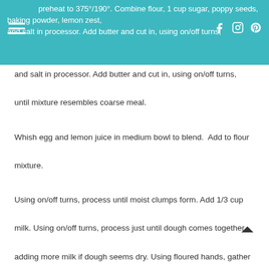preheat to 375°/190°. Combine flour, 1 cup sugar, poppy seeds, baking powder, lemon zest, and salt in processor. Add butter and cut in, using on/off turns, until mixture resembles coarse meal.
and salt in processor. Add butter and cut in, using on/off turns, until mixture resembles coarse meal.
Whish egg and lemon juice in medium bowl to blend.  Add to flour mixture.
Using on/off turns, process until moist clumps form. Add 1/3 cup milk. Using on/off turns, process just until dough comes together, adding more milk if dough seems dry. Using floured hands, gather dough into ball. Flatten into 8-inch round.  Cut round into 8 wedges. (Because I love scones and eat them almost daily, I made two rounds, so that the scones were smaller and had the deliciousness last longer.)
Transfer scones to large baking sheet covered with parchment;